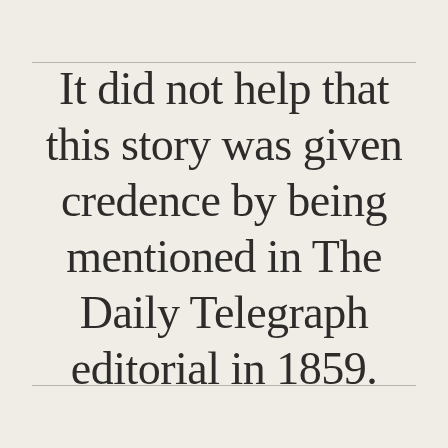It did not help that this story was given credence by being mentioned in The Daily Telegraph editorial in 1859.